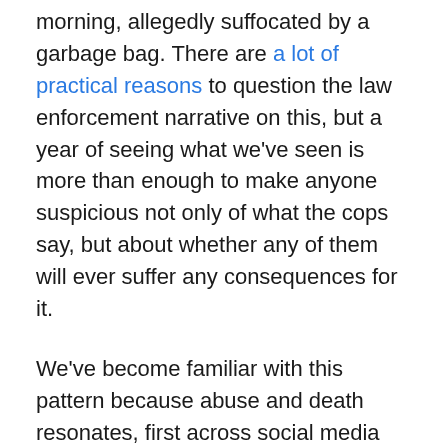morning, allegedly suffocated by a garbage bag. There are a lot of practical reasons to question the law enforcement narrative on this, but a year of seeing what we've seen is more than enough to make anyone suspicious not only of what the cops say, but about whether any of them will ever suffer any consequences for it.

We've become familiar with this pattern because abuse and death resonates, first across social media and then ricocheting through traditional media with an urgency that can feel discombobulating to those unaccustomed to seeing black lives mattering to people who aren't living them. Increased media attention means people remember names. Before they would have forgotten them or not even bothered to learn. Justice is sought where shoulders once simply shrugged. Media organizations like